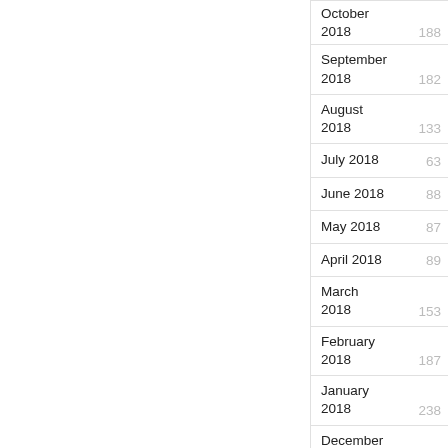October 2018  188
September 2018  182
August 2018  133
July 2018  63
June 2018  88
May 2018  87
April 2018  89
March 2018  153
February 2018  187
January 2018  238
December 2017  239
November 2017  147